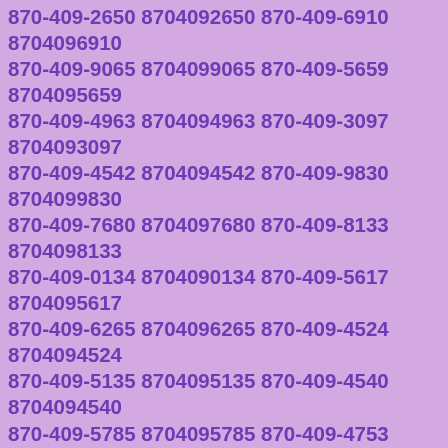870-409-2650 8704092650 870-409-6910 8704096910 870-409-9065 8704099065 870-409-5659 8704095659 870-409-4963 8704094963 870-409-3097 8704093097 870-409-4542 8704094542 870-409-9830 8704099830 870-409-7680 8704097680 870-409-8133 8704098133 870-409-0134 8704090134 870-409-5617 8704095617 870-409-6265 8704096265 870-409-4524 8704094524 870-409-5135 8704095135 870-409-4540 8704094540 870-409-5785 8704095785 870-409-4753 8704094753 870-409-8199 8704098199 870-409-1498 8704091498 870-409-7448 8704097448 870-409-2659 8704092659 870-409-9016 8704099016 870-409-7301 8704097301 870-409-2109 8704092109 870-409-0417 8704090417 870-409-5772 8704095772 870-409-6793 8704096793 870-409-0344 8704090344 870-409-2469 8704092469 870-409-3690 8704093690 870-409-6083 8704096083 870-409-5170 8704095170 870-409-5446 8704095446 870-409-1819 8704091819 870-409-4370 8704094370 870-409-2994 8704092994 870-409-6630 8704096630 870-409-8398 8704098398 870-409-0957 8704090957 870-409-6741 8704096741 870-409-4571 8704094571